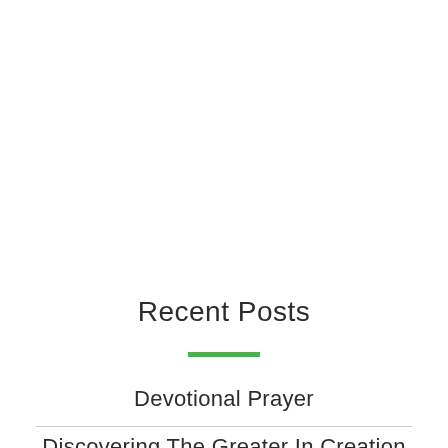Recent Posts
Devotional Prayer
Discovering The Greater In Creation